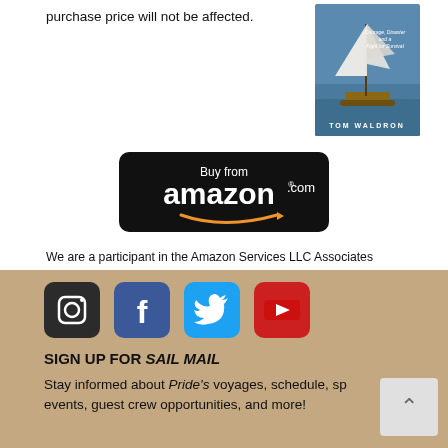purchase price will not be affected.
[Figure (illustration): Book cover showing a sailing ship on water with text 'Courage, Disaster and a Fight for Survival' and author name 'TOM WALDRON']
[Figure (logo): Buy from amazon.com button with orange smile arrow, black rounded rectangle background]
We are a participant in the Amazon Services LLC Associates Program, an affiliate advertising program designed to provide a means for us to earn fees by linking to Amazon.com and affiliated sites. As an Amazon Associate, we earn from qualifying purchases.
[Figure (infographic): Four social media icons: Instagram (black), Facebook (blue), Twitter (light blue), YouTube (red)]
SIGN UP FOR SAIL MAIL
Stay informed about Pride's voyages, schedule, sp events, guest crew opportunities, and more!